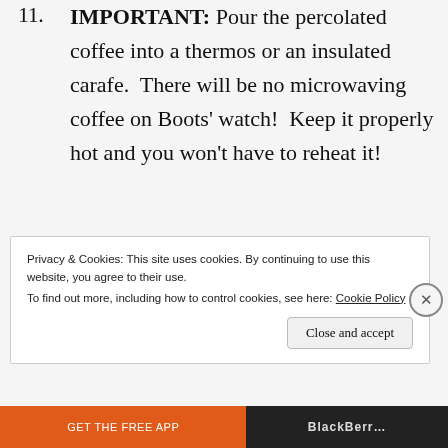11. IMPORTANT: Pour the percolated coffee into a thermos or an insulated carafe.  There will be no microwaving coffee on Boots' watch!  Keep it properly hot and you won't have to reheat it!
Privacy & Cookies: This site uses cookies. By continuing to use this website, you agree to their use.
To find out more, including how to control cookies, see here: Cookie Policy
Close and accept